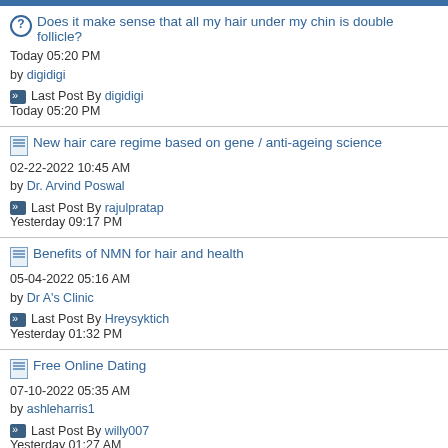Does it make sense that all my hair under my chin is double follicle? Today 05:20 PM by digidigi | Last Post By digidigi Today 05:20 PM
New hair care regime based on gene / anti-ageing science 02-22-2022 10:45 AM by Dr. Arvind Poswal | Last Post By rajulpratap Yesterday 09:17 PM
Benefits of NMN for hair and health 05-04-2022 05:16 AM by Dr A's Clinic | Last Post By Hreysyktich Yesterday 01:32 PM
Free Online Dating 07-10-2022 05:35 AM by ashleharris1 | Last Post By willy007 Yesterday 01:27 AM
CONSULTATIONS with DR KORAY ERDOGAN *London, UK - 17 & 2022 09-10-2022 09:45 AM